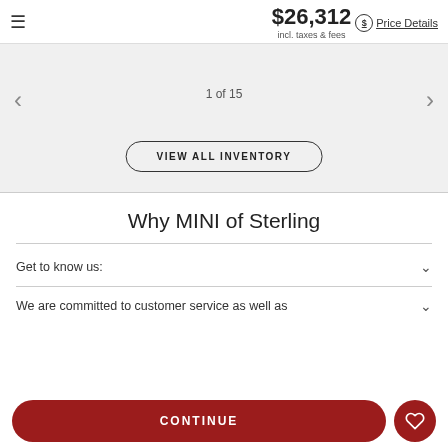$26,312 incl. taxes & fees | Price Details
[Figure (screenshot): Car image gallery placeholder showing '1 of 15' with left/right navigation arrows and a 'VIEW ALL INVENTORY' button]
Why MINI of Sterling
Get to know us:
We are committed to customer service as well as
CONTINUE